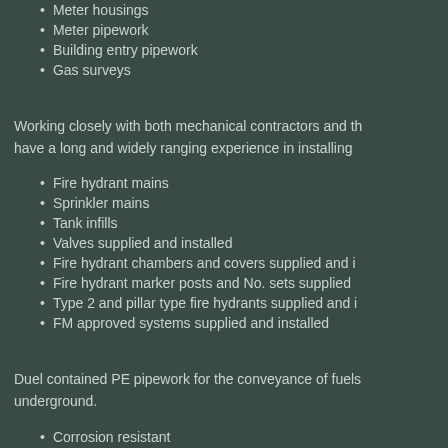Meter housings
Meter pipework
Building entry pipework
Gas surveys
Working closely with both mechanical contractors and th have a long and widely ranging experience in installing
Fire hydrant mains
Sprinkler mains
Tank infills
Valves supplied and installed
Fire hydrant chambers and covers supplied and i
Fire hydrant marker posts and No. sets supplied
Type 2 and pillar type fire hydrants supplied and i
FM approved systems supplied and installed
Duel contained PE pipework for the conveyance of fuels underground.
Corrosion resistant
Good permeation resistance
Strong & ductile
Protect the environment
10 bar to full vacuum rated
In built leak detection available
Minimal flow resistance